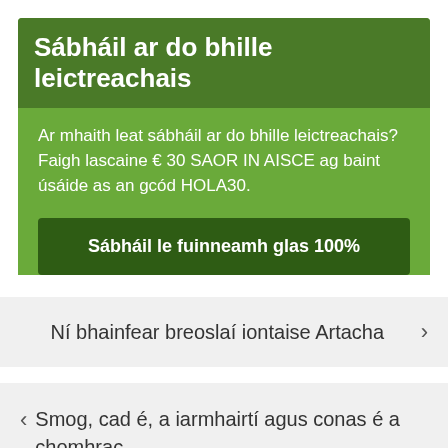Sábháil ar do bhille leictreachais
Ar mhaith leat sábháil ar do bhille leictreachais? Faigh lascaine € 30 SAOR IN AISCE ag baint úsáide as an gcód HOLA30.
Sábháil le fuinneamh glas 100%
Ní bhainfear breoslaí iontaise Artacha ›
‹ Smog, cad é, a iarmhairtí agus conas é a chomhrac